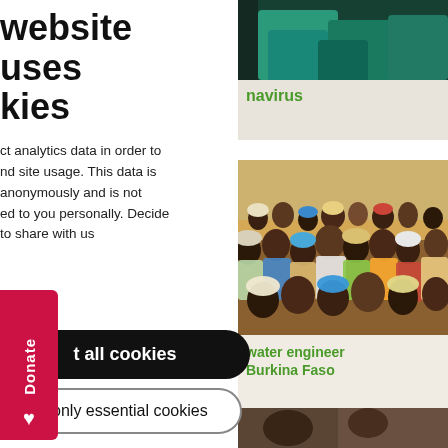website uses cookies
ct analytics data in order to nd site usage. This data is anonymously and is not ed to you personally. Decide to share with us
[Figure (photo): Donate button tab on left side, pink/red background with heart icon and vertical 'Donate' text]
t all cookies
ot only essential cookies
[Figure (photo): Top right: partial photo of person in teal/green clothing on beige background, with green link text 'navirus']
[Figure (photo): Middle right: crowd photo of many people in colorful clothing, African setting, Burkina Faso]
water engineer Burkina Faso
[Figure (photo): Bottom right: partial photo stub at very bottom of page]